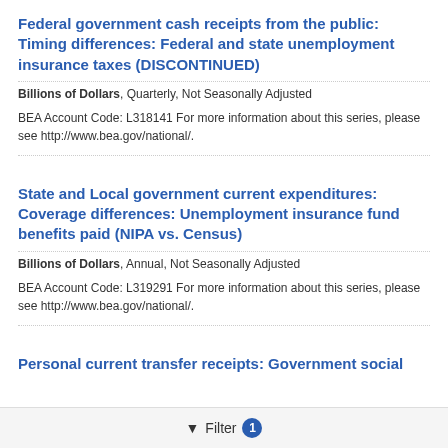Federal government cash receipts from the public: Timing differences: Federal and state unemployment insurance taxes (DISCONTINUED)
Billions of Dollars, Quarterly, Not Seasonally Adjusted
BEA Account Code: L318141 For more information about this series, please see http://www.bea.gov/national/.
State and Local government current expenditures: Coverage differences: Unemployment insurance fund benefits paid (NIPA vs. Census)
Billions of Dollars, Annual, Not Seasonally Adjusted
BEA Account Code: L319291 For more information about this series, please see http://www.bea.gov/national/.
Personal current transfer receipts: Government social
Filter 1